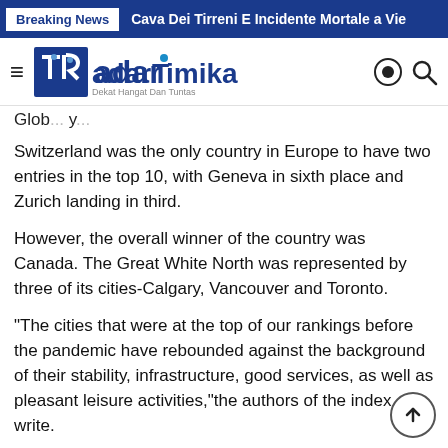Breaking News   Cava Dei Tirreni E Incidente Mortale a Vie
[Figure (logo): Radar Timika logo with tagline 'Dekat Hangat Dan Tuntas']
Glob... y...
Switzerland was the only country in Europe to have two entries in the top 10, with Geneva in sixth place and Zurich landing in third.
However, the overall winner of the country was Canada. The Great White North was represented by three of its cities-Calgary, Vancouver and Toronto.
“The cities that were at the top of our rankings before the pandemic have rebounded against the background of their stability, infrastructure, good services, as well as pleasant leisure activities,”the authors of the index write.